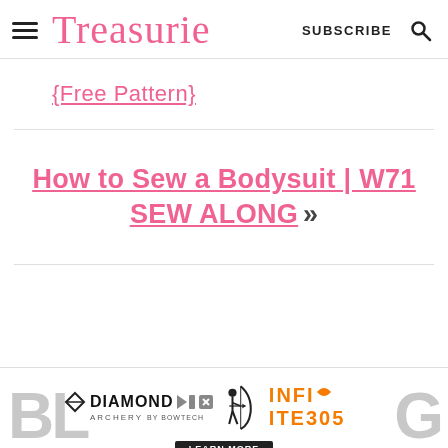Treasurie  SUBSCRIBE
{Free Pattern}
How to Sew a Bodysuit | W71 SEW ALONG »
[Figure (other): Diamond Archery advertisement banner with INFINITE 305 text and archery equipment image. Background shows partial large letters 'BL' on left and 'G' on right.]